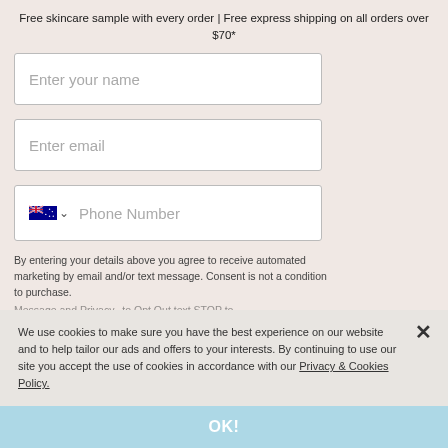Free skincare sample with every order | Free express shipping on all orders over $70*
Enter your name
Enter email
Phone Number
By entering your details above you agree to receive automated marketing by email and/or text message. Consent is not a condition to purchase.
We use cookies to make sure you have the best experience on our website and to help tailor our ads and offers to your interests. By continuing to use our site you accept the use of cookies in accordance with our Privacy & Cookies Policy.
OK!